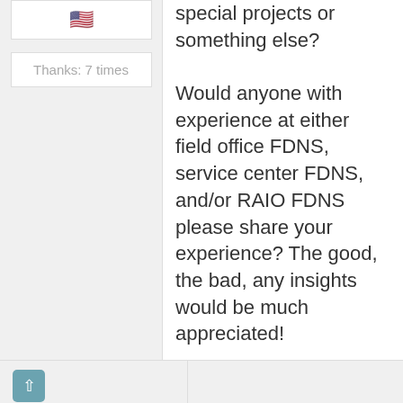[Figure (other): US flag emoji in a white bordered box]
Thanks: 7 times
special projects or something else?

Would anyone with experience at either field office FDNS, service center FDNS, and/or RAIO FDNS please share your experience? The good, the bad, any insights would be much appreciated!
[Figure (other): Up arrow button (blue-grey square with white up arrow)]
Rss Feed  Atom Feed
Users browsing this topic